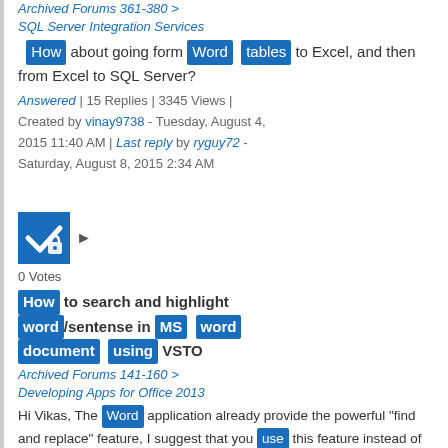Archived Forums 361-380 > SQL Server Integration Services
How about going form Word tables to Excel, and then from Excel to SQL Server?
Answered | 15 Replies | 3345 Views | Created by vinay9738 - Tuesday, August 4, 2015 11:40 AM | Last reply by ryguy72 - Saturday, August 8, 2015 2:34 AM
[Figure (other): Blue checkbox/answer icon with checkmark and lock symbol]
0 Votes
How to search and highlight word/sentense in MS word document using VSTO
Archived Forums 141-160 > Developing Apps for Office 2013
Hi Vikas, The Word application already provide the powerful "find and replace" feature, I suggest that you use this feature instead of developing a ...
Answered | 1 Replies | 751 Views | Created by vikAs P - Friday, September 25, 2015 12:48 PM | Last reply by Fei Xue - Monday, September 28, 2015 3:07 AM